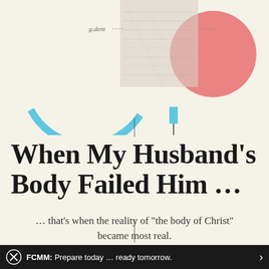[Figure (illustration): Abstract decorative collage with a blue arc/circle shape on the left, a pencil sketch portrait fragment in the center-top, a coral/salmon pink circle on the right, and handwritten-style text 'g.dent' with dashes. A small blue rectangle and a vertical dark line are also visible in the lower part of the illustration area.]
When My Husband’s Body Failed Him …
… that’s when the reality of “the body of Christ” became most real.
BY HILLARY REDDEN
FCMM: Prepare today … ready tomorrow.